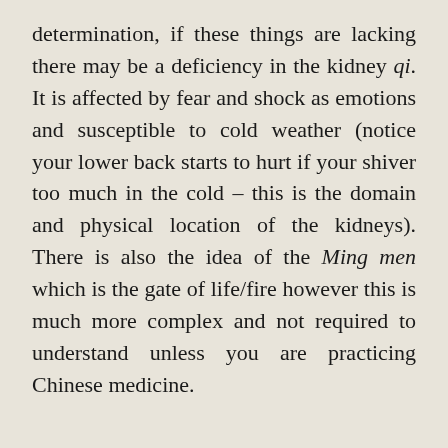determination, if these things are lacking there may be a deficiency in the kidney qi. It is affected by fear and shock as emotions and susceptible to cold weather (notice your lower back starts to hurt if your shiver too much in the cold – this is the domain and physical location of the kidneys). There is also the idea of the Ming men which is the gate of life/fire however this is much more complex and not required to understand unless you are practicing Chinese medicine.
As always there are several things that have not been mentioned in this article regarding